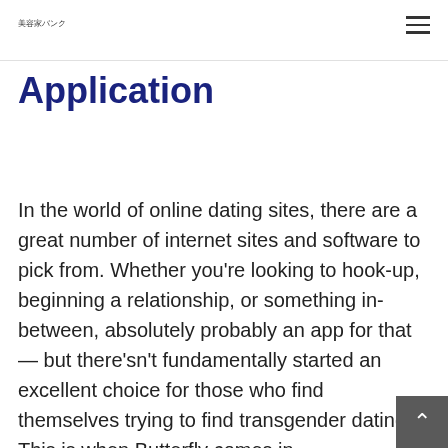美容家バンク
Application
In the world of online dating sites, there are a great number of internet sites and software to pick from. Whether you're looking to hook-up, beginning a relationship, or something in-between, absolutely probably an app for that — but there'sn't fundamentally started an excellent choice for those who find themselves trying to find transgender dating. This is when Butterfly comes in.